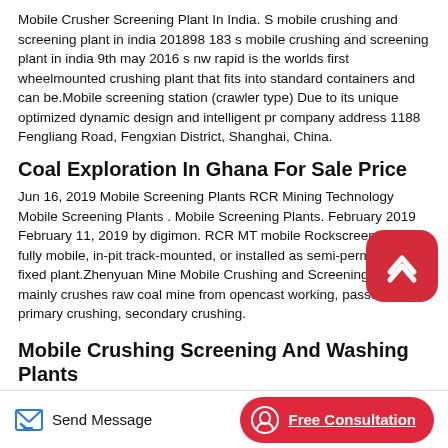Mobile Crusher Screening Plant In India. S mobile crushing and screening plant in india 201898 183 s mobile crushing and screening plant in india 9th may 2016 s nw rapid is the worlds first wheelmounted crushing plant that fits into standard containers and can be.Mobile screening station (crawler type) Due to its unique optimized dynamic design and intelligent pr company address 1188 Fengliang Road, Fengxian District, Shanghai, China.
Coal Exploration In Ghana For Sale Price
Jun 16, 2019 Mobile Screening Plants RCR Mining Technology Mobile Screening Plants . Mobile Screening Plants. February 2019 February 11, 2019 by digimon. RCR MT mobile Rockscreen can be fully mobile, in-pit track-mounted, or installed as semi-permanent fixed plant.Zhenyuan Mine Mobile Crushing and Screening Plant mainly crushes raw coal mine from opencast working, passes the primary crushing, secondary crushing.
Mobile Crushing Screening And Washing Plants
Send Message   Free Consultation